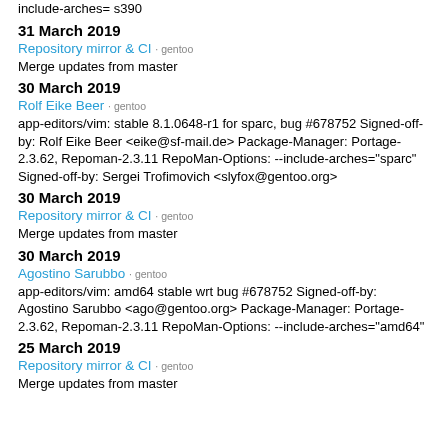include-arches= s390
31 March 2019
Repository mirror & CI · gentoo
Merge updates from master
30 March 2019
Rolf Eike Beer · gentoo
app-editors/vim: stable 8.1.0648-r1 for sparc, bug #678752 Signed-off-by: Rolf Eike Beer <eike@sf-mail.de> Package-Manager: Portage-2.3.62, Repoman-2.3.11 RepoMan-Options: --include-arches="sparc" Signed-off-by: Sergei Trofimovich <slyfox@gentoo.org>
30 March 2019
Repository mirror & CI · gentoo
Merge updates from master
30 March 2019
Agostino Sarubbo · gentoo
app-editors/vim: amd64 stable wrt bug #678752 Signed-off-by: Agostino Sarubbo <ago@gentoo.org> Package-Manager: Portage-2.3.62, Repoman-2.3.11 RepoMan-Options: --include-arches="amd64"
25 March 2019
Repository mirror & CI · gentoo
Merge updates from master